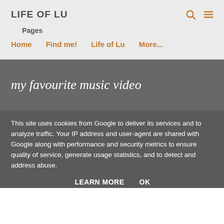LIFE OF LU
Pages
Home   Find me!   Life of Lu   More...
my favourite music video
This site uses cookies from Google to deliver its services and to analyze traffic. Your IP address and user-agent are shared with Google along with performance and security metrics to ensure quality of service, generate usage statistics, and to detect and address abuse.
LEARN MORE   OK